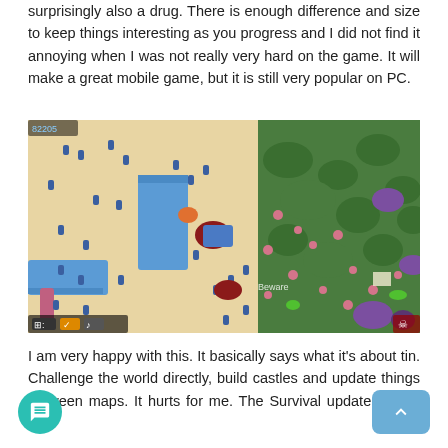surprisingly also a drug. There is enough difference and size to keep things interesting as you progress and I did not find it annoying when I was not really very hard on the game. It will make a great mobile game, but it is still very popular on PC.
[Figure (screenshot): Screenshot of a top-down strategy/survival game showing blue soldier units on a sandy map on the left side, and a green forested area with pink flowers and purple/colorful objects on the right side. Game UI elements visible at bottom.]
I am very happy with this. It basically says what it's about tin. Challenge the world directly, build castles and update things between maps. It hurts for me. The Survival update is also fun.